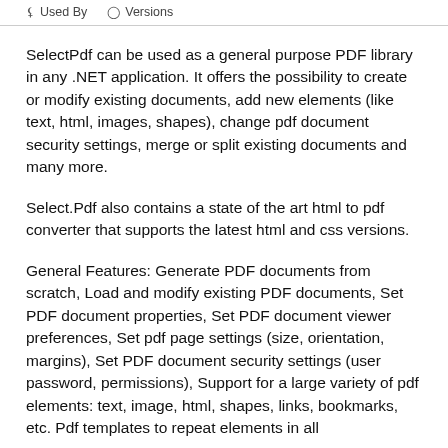Used By   Versions
SelectPdf can be used as a general purpose PDF library in any .NET application. It offers the possibility to create or modify existing documents, add new elements (like text, html, images, shapes), change pdf document security settings, merge or split existing documents and many more.
Select.Pdf also contains a state of the art html to pdf converter that supports the latest html and css versions.
General Features: Generate PDF documents from scratch, Load and modify existing PDF documents, Set PDF document properties, Set PDF document viewer preferences, Set pdf page settings (size, orientation, margins), Set PDF document security settings (user password, permissions), Support for a large variety of pdf elements: text, image, html, shapes, links, bookmarks, etc. Pdf templates to repeat elements in all